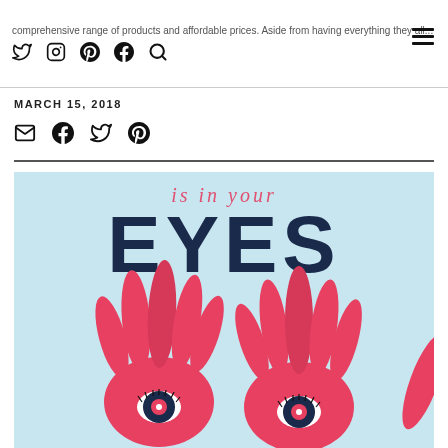comprehensive range of products and affordable prices. Aside from having everything they all...
MARCH 15, 2018
Share icons: email, facebook, twitter, pinterest
[Figure (illustration): Decorative illustration with text 'is in your EYES' in large letters over a light blue background, with two stylized pink/red hands featuring eyes with heart pupils drawn on the palms.]